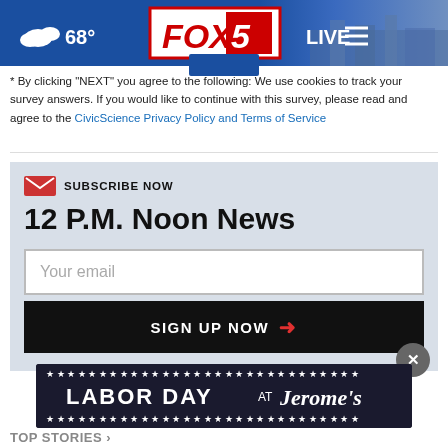[Figure (screenshot): FOX 5 news website header bar with blue background showing weather (cloud icon, 68°), FOX 5 logo in red box, city skyline photo, LIVE label, and hamburger menu icon]
* By clicking "NEXT" you agree to the following: We use cookies to track your survey answers. If you would like to continue with this survey, please read and agree to the CivicScience Privacy Policy and Terms of Service
SUBSCRIBE NOW
12 P.M. Noon News
Your email
SIGN UP NOW
[Figure (screenshot): Advertisement banner for Labor Day at Jerome's furniture store with dark navy background and star decorations]
TOP STORIES ›